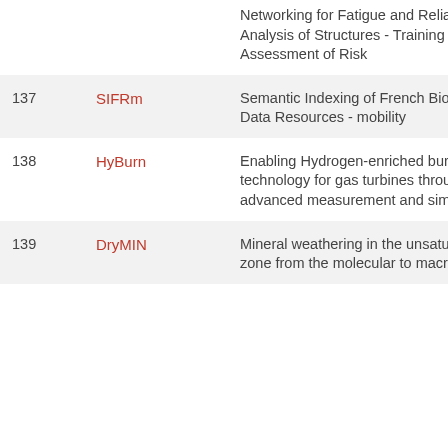| # | Name | Description |
| --- | --- | --- |
|  |  | Networking for Fatigue and Reliability Analysis of Structures - Training for Assessment of Risk |
| 137 | SIFRm | Semantic Indexing of French Biomedical Data Resources - mobility |
| 138 | HyBurn | Enabling Hydrogen-enriched burner technology for gas turbines through advanced measurement and simulation |
| 139 | DryMIN | Mineral weathering in the unsaturated zone from the molecular to macro scale |